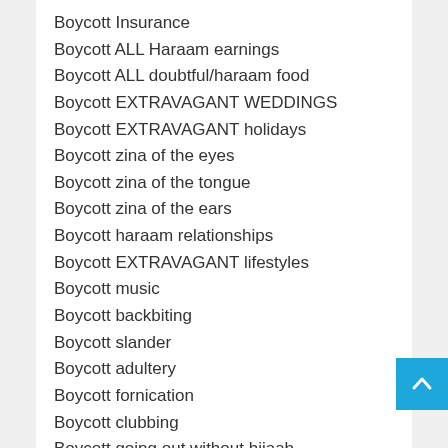Boycott Insurance
Boycott ALL Haraam earnings
Boycott ALL doubtful/haraam food
Boycott EXTRAVAGANT WEDDINGS
Boycott EXTRAVAGANT holidays
Boycott zina of the eyes
Boycott zina of the tongue
Boycott zina of the ears
Boycott haraam relationships
Boycott EXTRAVAGANT lifestyles
Boycott music
Boycott backbiting
Boycott slander
Boycott adultery
Boycott fornication
Boycott clubbing
Boycott going out without hijaab
Boycott intermingling of genders
Boycott EVER MISSING A SALAH